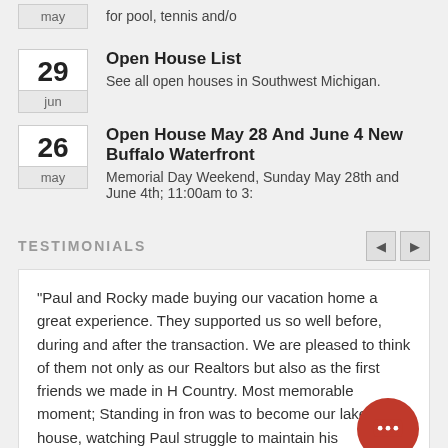may — for pool, tennis and/o
29 jun — Open House List — See all open houses in Southwest Michigan.
26 may — Open House May 28 And June 4 New Buffalo Waterfront — Memorial Day Weekend, Sunday May 28th and June 4th; 11:00am to 3:
TESTIMONIALS
"Paul and Rocky made buying our vacation home a great experience. They supported us so well before, during and after the transaction. We are pleased to think of them not only as our Realtors but also as the first friends we made in H Country. Most memorable moment; Standing in fron was to become our lake house, watching Paul struggle to maintain his professional distance from our decision about whether to jump on the magnificent opportunity he had